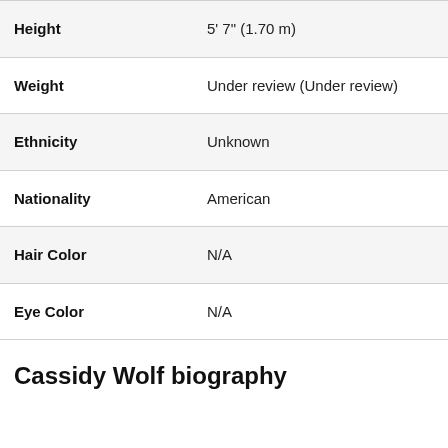| Height | 5' 7" (1.70 m) |
| Weight | Under review (Under review) |
| Ethnicity | Unknown |
| Nationality | American |
| Hair Color | N/A |
| Eye Color | N/A |
Cassidy Wolf biography